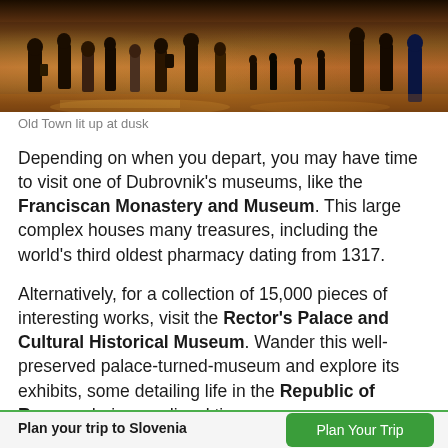[Figure (photo): People walking in a warmly lit Old Town corridor or arcade at dusk, amber/golden light reflecting on marble floors]
Old Town lit up at dusk
Depending on when you depart, you may have time to visit one of Dubrovnik's museums, like the Franciscan Monastery and Museum. This large complex houses many treasures, including the world's third oldest pharmacy dating from 1317.
Alternatively, for a collection of 15,000 pieces of interesting works, visit the Rector's Palace and Cultural Historical Museum. Wander this well-preserved palace-turned-museum and explore its exhibits, some detailing life in the Republic of Ragusa during medieval times.
Plan your trip to Slovenia
Plan Your Trip